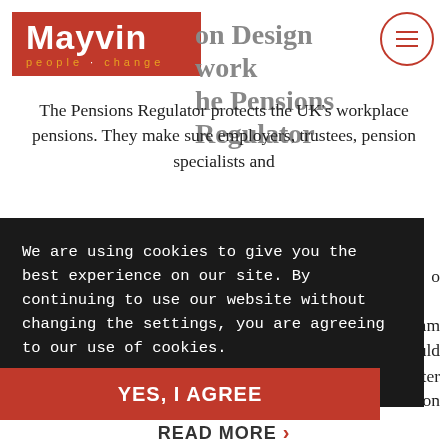[Figure (logo): Mayvin logo — red rectangle with white 'Mayvin' text and orange 'people change' subtext]
[Figure (other): Hamburger menu icon — circle with three horizontal lines in red]
Organisation Design work at The Pensions Regulator
The Pensions Regulator protects the UK's workplace pensions. They make sure employers, trustees, pension specialists and ...o ... ...am ...uld ...ter ...on
We are using cookies to give you the best experience on our site. By continuing to use our website without changing the settings, you are agreeing to our use of cookies.
Learn more
YES, I AGREE
READ MORE >